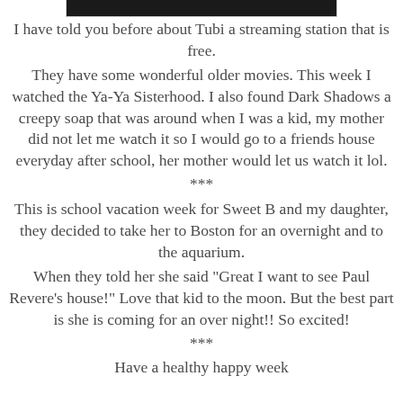[Figure (photo): Partial image visible at top of page, dark/black strip]
I have told you before about Tubi a streaming station that is free.
They have some wonderful older movies. This week I watched the Ya-Ya Sisterhood. I also found Dark Shadows a creepy soap that was around when I was a kid, my mother did not let me watch it so I would go to a friends house everyday after school, her mother would let us watch it lol.
***
This is school vacation week for Sweet B and my daughter, they decided to take her to Boston for an overnight and to the aquarium.
When they told her she said "Great I want to see Paul Revere's house!" Love that kid to the moon. But the best part is she is coming for an over night!! So excited!
***
Have a healthy happy week